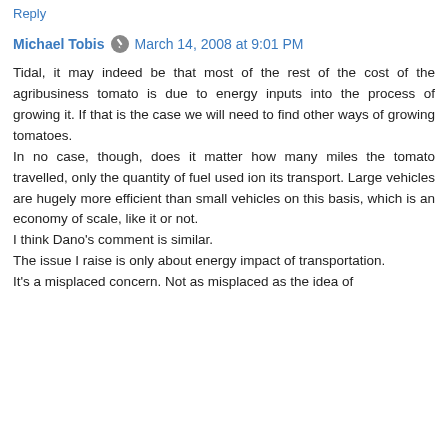Reply
Michael Tobis  March 14, 2008 at 9:01 PM
Tidal, it may indeed be that most of the rest of the cost of the agribusiness tomato is due to energy inputs into the process of growing it. If that is the case we will need to find other ways of growing tomatoes.
In no case, though, does it matter how many miles the tomato travelled, only the quantity of fuel used ion its transport. Large vehicles are hugely more efficient than small vehicles on this basis, which is an economy of scale, like it or not.
I think Dano's comment is similar.
The issue I raise is only about energy impact of transportation.
It's a misplaced concern. Not as misplaced as the idea of